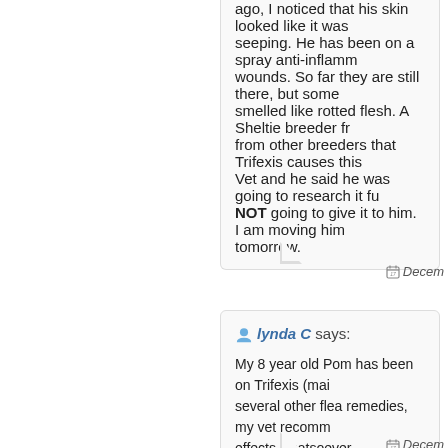ago, I noticed that his skin looked like it was seeping. He has been on a spray anti-inflamm wounds. So far they are still there, but some smelled like rotted flesh. A Sheltie breeder fr from other breeders that Trifexis causes this Vet and he said he was going to research it fu NOT going to give it to him. I am moving him tomorrow.
Decem
lynda C says:
My 8 year old Pom has been on Trifexis (mai several other flea remedies, my vet recomm effects whatsoever.
Decem